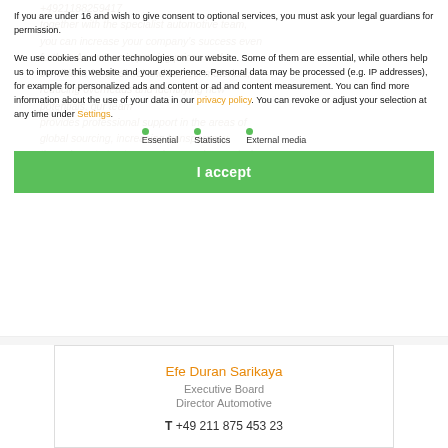+4921188259417 together with the specialist automotive team, you can increase your company's success even further. As well as improving prices and conditions for all direct and indirect materials, reducing overheads and identifying new potentials, our team provides professional support in the areas of global sourcing, increasing transparency through cost structure analyses, value analysis-based optimisation and holistic monitoring of machinery investments.
If you are under 16 and wish to give consent to optional services, you must ask your legal guardians for permission.

We use cookies and other technologies on our website. Some of them are essential, while others help us to improve this website and your experience. Personal data may be processed (e.g. IP addresses), for example for personalized ads and content or ad and content measurement. You can find more information about the use of your data in our privacy policy. You can revoke or adjust your selection at any time under Settings.
Essential
Statistics
External media
I accept
Efe Duran Sarikaya
Executive Board
Director Automotive
T +49 211 875 453 23